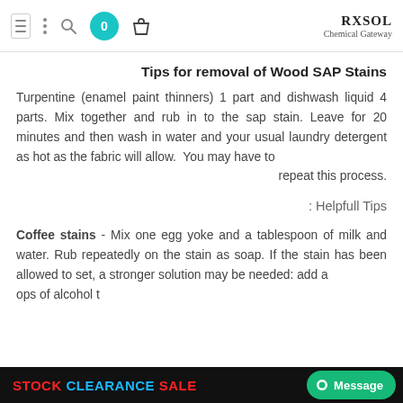RXSOL Chemical Gateway
Tips for removal of Wood SAP Stains
Turpentine (enamel paint thinners) 1 part and dishwash liquid 4 parts. Mix together and rub in to the sap stain. Leave for 20 minutes and then wash in water and your usual laundry detergent as hot as the fabric will allow.  You may have to repeat this process.
Helpfull Tips :
Coffee stains - Mix one egg yoke and a tablespoon of milk and water. Rub repeatedly on the stain as soap. If the stain has been allowed to set, a stronger solution may be needed: add a drops of alcohol t
STOCK CLEARANCE SALE